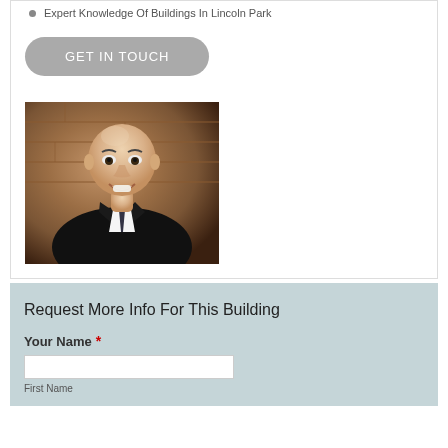Expert Knowledge Of Buildings In Lincoln Park
GET IN TOUCH
[Figure (photo): Professional headshot of a bald man in a dark suit and white shirt, smiling, against a brick wall background]
Request More Info For This Building
Your Name *
First Name